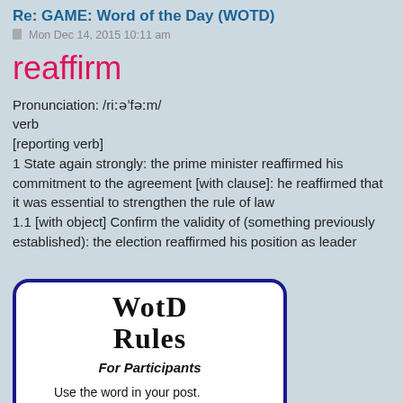Re: GAME: Word of the Day (WOTD)
Mon Dec 14, 2015 10:11 am
reaffirm
Pronunciation: /riːəˈfəːm/
verb
[reporting verb]
1 State again strongly: the prime minister reaffirmed his commitment to the agreement [with clause]: he reaffirmed that it was essential to strengthen the rule of law
1.1 [with object] Confirm the validity of (something previously established): the election reaffirmed his position as leader
[Figure (illustration): A card with dark blue border and white background. Shows 'WotD Rules' in blackletter/old English font at top, then 'For Participants' in bold italic, followed by a numbered list: 1. Use the word in your post. 2. Have fun. 3. Make the word bold so it is easier to see.]